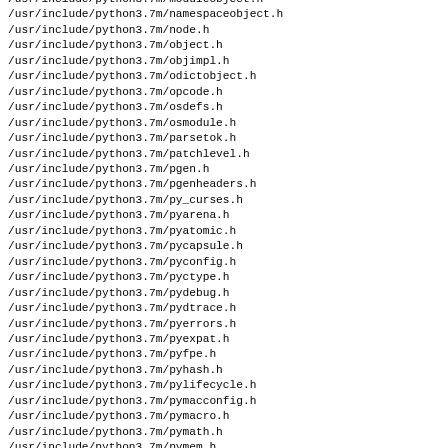/usr/include/python3.7m/moduleobject.h
/usr/include/python3.7m/namespaceobject.h
/usr/include/python3.7m/node.h
/usr/include/python3.7m/object.h
/usr/include/python3.7m/objimpl.h
/usr/include/python3.7m/odictobject.h
/usr/include/python3.7m/opcode.h
/usr/include/python3.7m/osdefs.h
/usr/include/python3.7m/osmodule.h
/usr/include/python3.7m/parsetok.h
/usr/include/python3.7m/patchlevel.h
/usr/include/python3.7m/pgen.h
/usr/include/python3.7m/pgenheaders.h
/usr/include/python3.7m/py_curses.h
/usr/include/python3.7m/pyarena.h
/usr/include/python3.7m/pyatomic.h
/usr/include/python3.7m/pycapsule.h
/usr/include/python3.7m/pyconfig.h
/usr/include/python3.7m/pyctype.h
/usr/include/python3.7m/pydebug.h
/usr/include/python3.7m/pydtrace.h
/usr/include/python3.7m/pyerrors.h
/usr/include/python3.7m/pyexpat.h
/usr/include/python3.7m/pyfpe.h
/usr/include/python3.7m/pyhash.h
/usr/include/python3.7m/pylifecycle.h
/usr/include/python3.7m/pymacconfig.h
/usr/include/python3.7m/pymacro.h
/usr/include/python3.7m/pymath.h
/usr/include/python3.7m/pymem.h